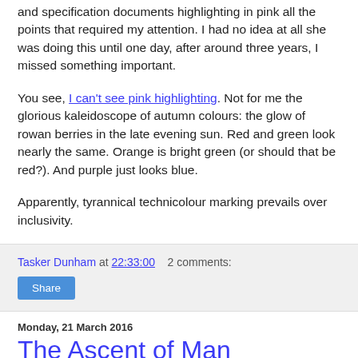and specification documents highlighting in pink all the points that required my attention. I had no idea at all she was doing this until one day, after around three years, I missed something important.
You see, I can't see pink highlighting. Not for me the glorious kaleidoscope of autumn colours: the glow of rowan berries in the late evening sun. Red and green look nearly the same. Orange is bright green (or should that be red?). And purple just looks blue.
Apparently, tyrannical technicolour marking prevails over inclusivity.
Tasker Dunham at 22:33:00   2 comments:
Share
Monday, 21 March 2016
The Ascent of Man